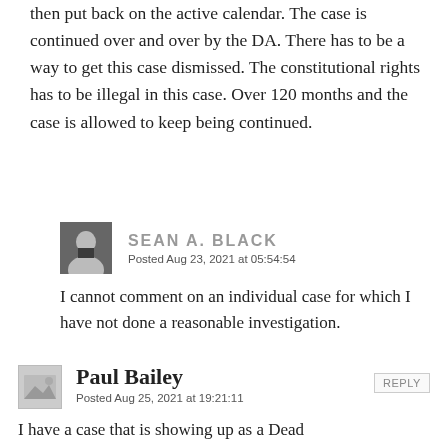then put back on the active calendar. The case is continued over and over by the DA. There has to be a way to get this case dismissed. The constitutional rights has to be illegal in this case. Over 120 months and the case is allowed to keep being continued.
SEAN A. BLACK
Posted Aug 23, 2021 at 05:54:54
I cannot comment on an individual case for which I have not done a reasonable investigation.
Paul Bailey
Posted Aug 25, 2021 at 19:21:11
I have a case that is showing up as a Dead